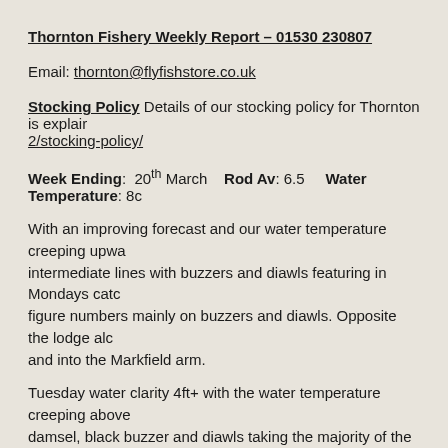Thornton Fishery Weekly Report – 01530 230807
Email: thornton@flyfishstore.co.uk
Stocking Policy Details of our stocking policy for Thornton is explained at ... 2/stocking-policy/
Week Ending: 20th March   Rod Av: 6.5   Water Temperature: 8c
With an improving forecast and our water temperature creeping upwards, intermediate lines with buzzers and diawls featuring in Mondays catch, figure numbers mainly on buzzers and diawls. Opposite the lodge and into the Markfield arm.
Tuesday water clarity 4ft+ with the water temperature creeping above, damsel, black buzzer and diawls taking the majority of the trout along past the lonesome pine. This time of year the bank fishing at Thornton, catching 13 for his bank fishing session, a word of advice, bring waders, catching a personal best rainbow of 5lb2oz. P Mee fished again today with his best rainbow weighing 4lb5oz